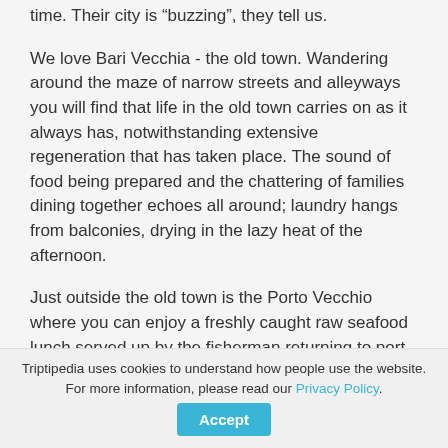time. Their city is “buzzing”, they tell us.
We love Bari Vecchia - the old town. Wandering around the maze of narrow streets and alleyways you will find that life in the old town carries on as it always has, notwithstanding extensive regeneration that has taken place. The sound of food being prepared and the chattering of families dining together echoes all around; laundry hangs from balconies, drying in the lazy heat of the afternoon.
Just outside the old town is the Porto Vecchio where you can enjoy a freshly caught raw seafood lunch served up by the fisherman returning to port. We recommend sea urchin served with a hunk of
Triptipedia uses cookies to understand how people use the website. For more information, please read our Privacy Policy.